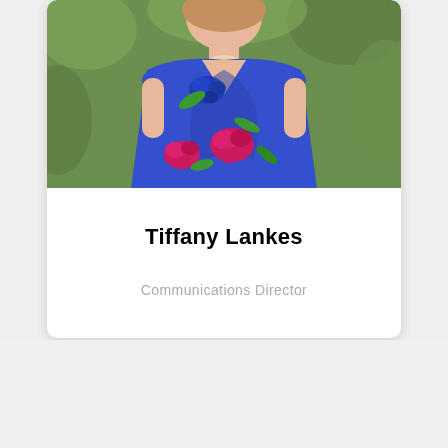[Figure (photo): Portrait photo of Tiffany Lankes wearing a blue floral dress with pink and green flowers, photographed outdoors with a blurred green background.]
Tiffany Lankes
Communications Director